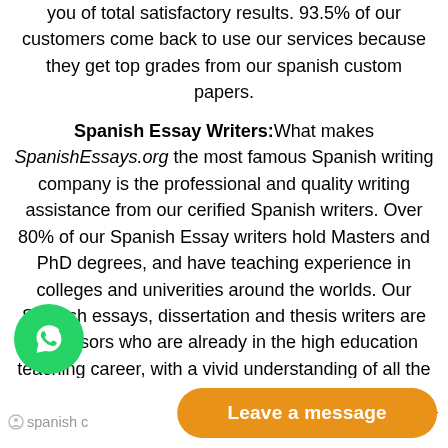you of total satisfactory results. 93.5% of our customers come back to use our services because they get top grades from our spanish custom papers.
Spanish Essay Writers: What makes SpanishEssays.org the most famous Spanish writing company is the professional and quality writing assistance from our cerified Spanish writers. Over 80% of our Spanish Essay writers hold Masters and PhD degrees, and have teaching experience in colleges and univerities around the worlds. Our Spanish essays, dissertation and thesis writers are professors who are already in the high education teaching career, with a vivid understanding of all the academic requirements for various assignments. If you want any spanish c… try our
Leave a message